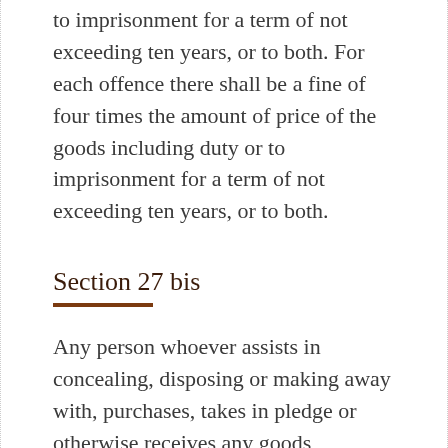to imprisonment for a term of not exceeding ten years, or to both. For each offence there shall be a fine of four times the amount of price of the goods including duty or to imprisonment for a term of not exceeding ten years, or to both.
Section 27 bis
Any person whoever assists in concealing, disposing or making away with, purchases, takes in pledge or otherwise receives any goods, knowing that such goods are tax unpaid or